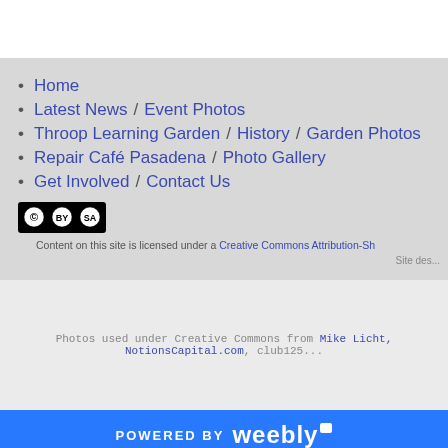Home
Latest News / Event Photos
Throop Learning Garden / History / Garden Photos
Repair Café Pasadena / Photo Gallery
Get Involved / Contact Us
[Figure (logo): Creative Commons BY-SA badge]
Content on this site is licensed under a Creative Commons Attribution-Sh...
Site des...
Photos used under Creative Commons from Mike Licht, NotionsCapital.com, club125...
POWERED BY weebly